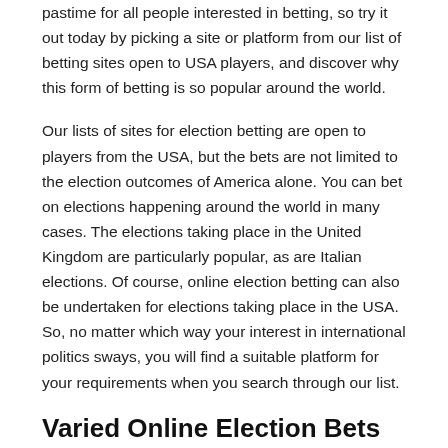pastime for all people interested in betting, so try it out today by picking a site or platform from our list of betting sites open to USA players, and discover why this form of betting is so popular around the world.
Our lists of sites for election betting are open to players from the USA, but the bets are not limited to the election outcomes of America alone. You can bet on elections happening around the world in many cases. The elections taking place in the United Kingdom are particularly popular, as are Italian elections. Of course, online election betting can also be undertaken for elections taking place in the USA. So, no matter which way your interest in international politics sways, you will find a suitable platform for your requirements when you search through our list.
Varied Online Election Bets
You can bet on which candidate will be named the next President, the next Prime Minister, or who the winning party will be. You can even place online election bets on seats in parliament, and many more options exist. Scan our list today to get in on the action!